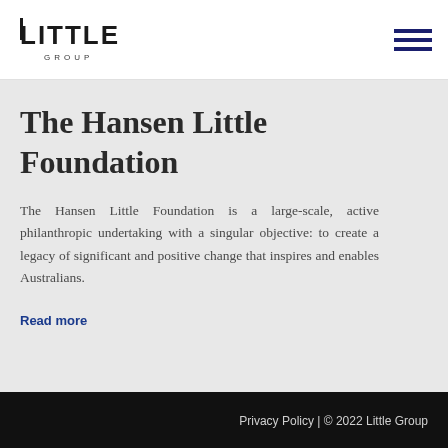[Figure (logo): Little Group logo - bold block letters reading LITTLE with GROUP below in smaller caps]
The Hansen Little Foundation
The Hansen Little Foundation is a large-scale, active philanthropic undertaking with a singular objective: to create a legacy of significant and positive change that inspires and enables Australians.
Read more
Privacy Policy | © 2022 Little Group